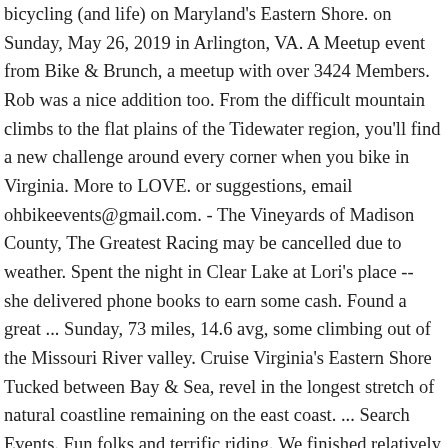bicycling (and life) on Maryland's Eastern Shore. on Sunday, May 26, 2019 in Arlington, VA. A Meetup event from Bike & Brunch, a meetup with over 3424 Members. Rob was a nice addition too. From the difficult mountain climbs to the flat plains of the Tidewater region, you'll find a new challenge around every corner when you bike in Virginia. More to LOVE. or suggestions, email ohbikeevents@gmail.com. - The Vineyards of Madison County, The Greatest Racing may be cancelled due to weather. Spent the night in Clear Lake at Lori's place -- she delivered phone books to earn some cash. Found a great ... Sunday, 73 miles, 14.6 avg, some climbing out of the Missouri River valley. Cruise Virginia's Eastern Shore Tucked between Bay & Sea, revel in the longest stretch of natural coastline remaining on the east coast. ... Search Events. Fun folks and terrific riding. We finished relatively strong and had a nice small-town dinner. Thursday, 88 miles, mostly with Greg. Matt and Elizabeth got married on Saturday late afternoon, at the Maritime Museum in St.